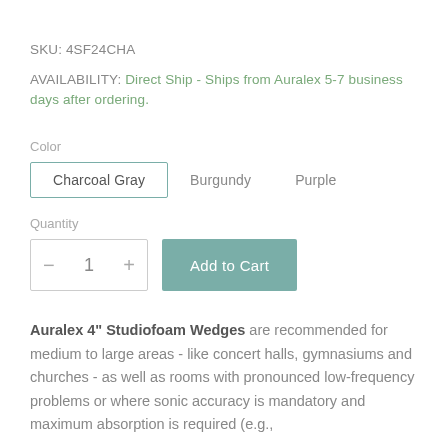SKU: 4SF24CHA
AVAILABILITY: Direct Ship - Ships from Auralex 5-7 business days after ordering.
Color
Charcoal Gray
Burgundy
Purple
Quantity
1
Add to Cart
Auralex 4" Studiofoam Wedges are recommended for medium to large areas - like concert halls, gymnasiums and churches - as well as rooms with pronounced low-frequency problems or where sonic accuracy is mandatory and maximum absorption is required (e.g.,